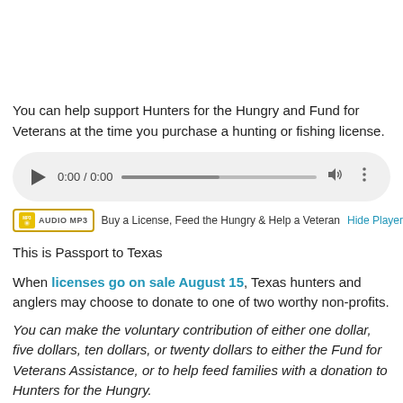You can help support Hunters for the Hungry and Fund for Veterans at the time you purchase a hunting or fishing license.
[Figure (other): Audio player widget showing 0:00 / 0:00 with play button, progress bar, volume and more options icons on a rounded grey background.]
Buy a License, Feed the Hungry & Help a Veteran  Hide Player | Play in Popup
This is Passport to Texas
When licenses go on sale August 15, Texas hunters and anglers may choose to donate to one of two worthy non-profits.
You can make the voluntary contribution of either one dollar, five dollars, ten dollars, or twenty dollars to either the Fund for Veterans Assistance, or to help feed families with a donation to Hunters for the Hungry.
Justin Halvorsen is revenue director at Texas Parks and Wildlife, and says